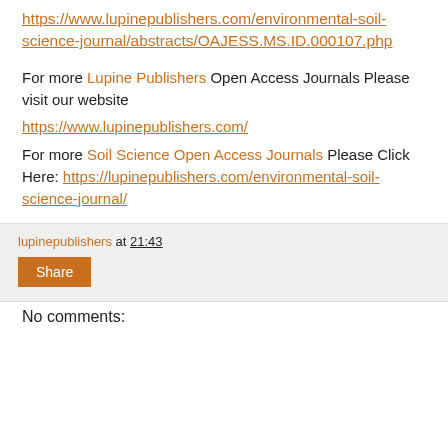https://www.lupinepublishers.com/environmental-soil-science-journal/abstracts/OAJESS.MS.ID.000107.php
For more Lupine Publishers Open Access Journals Please visit our website
https://www.lupinepublishers.com/
For more Soil Science Open Access Journals Please Click Here: https://lupinepublishers.com/environmental-soil-science-journal/
lupinepublishers at 21:43 Share
No comments: